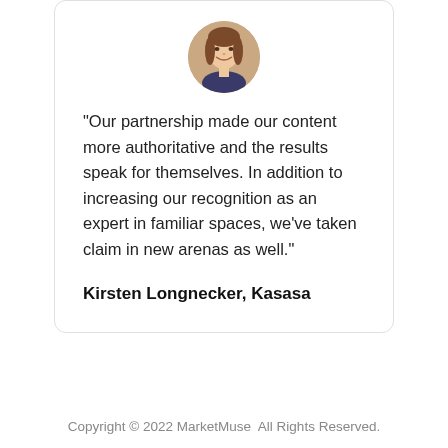[Figure (photo): Circular headshot photo of a woman smiling, brown hair, professional appearance]
"Our partnership made our content more authoritative and the results speak for themselves. In addition to increasing our recognition as an expert in familiar spaces, we’ve taken claim in new arenas as well."
Kirsten Longnecker, Kasasa
Copyright © 2022 MarketMuse  All Rights Reserved.